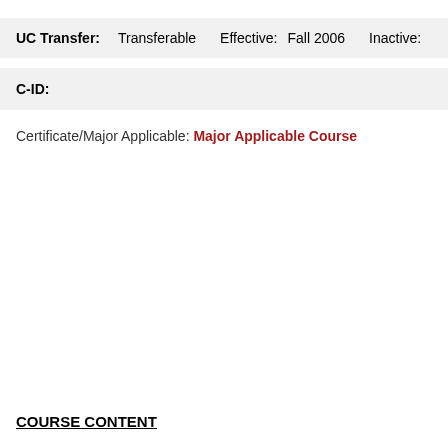UC Transfer: Transferable   Effective: Fall 2006   Inactive:
C-ID:
Certificate/Major Applicable: Major Applicable Course
COURSE CONTENT